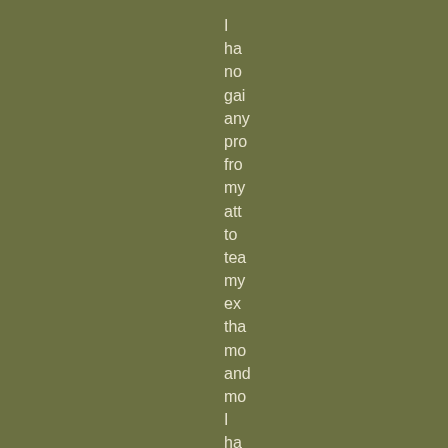I have not gained any profit from my attempts to teach my experience that more and more I have discovered my ignorance. De